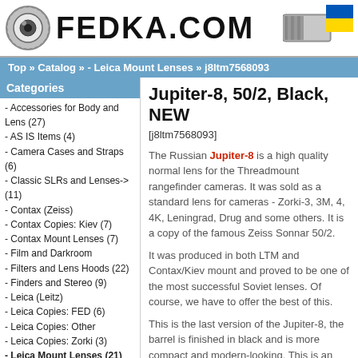[Figure (logo): Fedka.com website header with lens icon on left, FEDKA.COM bold text in center, and a flash/camera accessory icon with Ukrainian flag colors on right]
Top » Catalog » - Leica Mount Lenses » j8ltm7568093
Categories
- Accessories for Body and Lens (27)
- AS IS Items (4)
- Camera Cases and Straps (6)
- Classic SLRs and Lenses-> (11)
- Contax (Zeiss)
- Contax Copies: Kiev (7)
- Contax Mount Lenses (7)
- Film and Darkroom
- Filters and Lens Hoods (22)
- Finders and Stereo (9)
- Leica (Leitz)
- Leica Copies: FED (6)
- Leica Copies: Other
- Leica Copies: Zorki (3)
- Leica Mount Lenses (21)
- Literature and Manuals (17)
Jupiter-8, 50/2, Black, NEW
[j8ltm7568093]
The Russian Jupiter-8 is a high quality normal lens for the Threadmount rangefinder cameras. It was sold as a standard lens for cameras - Zorki-3, 3M, 4, 4K, Leningrad, Drug and some others. It is a copy of the famous Zeiss Sonnar 50/2.
It was produced in both LTM and Contax/Kiev mount and proved to be one of the most successful Soviet lenses. Of course, we have to offer the best of this.
This is the last version of the Jupiter-8, the barrel is finished in black and is more compact and modern-looking. This is an excellent lens choice for your Leica or Bessa.
| Specification | Value |
| --- | --- |
| Focal length | 50 mm |